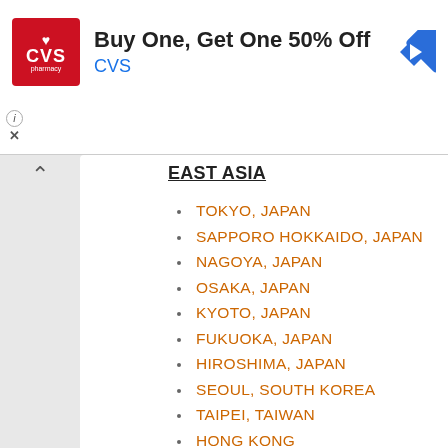[Figure (screenshot): CVS Pharmacy advertisement banner with red CVS logo showing heart icon, headline 'Buy One, Get One 50% Off', brand name 'CVS' in blue, and a blue navigation diamond arrow icon on the right. Info (i) and close (X) controls at bottom left.]
EAST ASIA
TOKYO, JAPAN
SAPPORO HOKKAIDO, JAPAN
NAGOYA, JAPAN
OSAKA, JAPAN
KYOTO, JAPAN
FUKUOKA, JAPAN
HIROSHIMA, JAPAN
SEOUL, SOUTH KOREA
TAIPEI, TAIWAN
HONG KONG
MACAU
BEIJING, CHINA